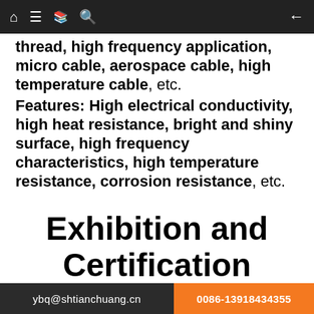[navigation bar with home, menu, translate, search icons and back arrow]
thread, high frequency application, micro cable, aerospace cable, high temperature cable, etc.
Features: High electrical conductivity, high heat resistance, bright and shiny surface, high frequency characteristics, high temperature resistance, corrosion resistance, etc.
Exhibition and Certification
ybq@shtianchuang.cn   0086-13918434355